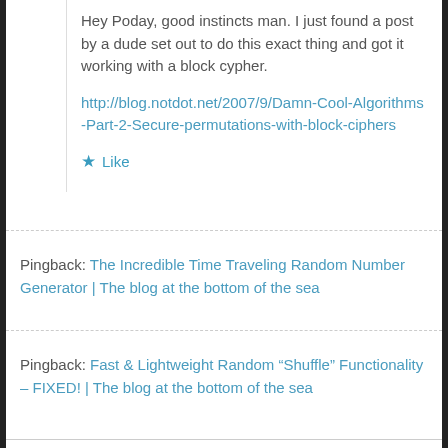Hey Poday, good instincts man. I just found a post by a dude set out to do this exact thing and got it working with a block cypher.
http://blog.notdot.net/2007/9/Damn-Cool-Algorithms-Part-2-Secure-permutations-with-block-ciphers
★ Like
Pingback: The Incredible Time Traveling Random Number Generator | The blog at the bottom of the sea
Pingback: Fast & Lightweight Random “Shuffle” Functionality – FIXED! | The blog at the bottom of the sea